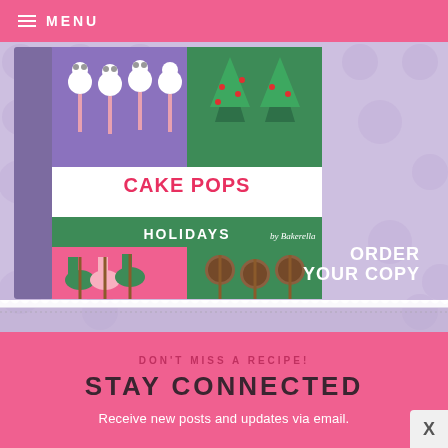MENU
[Figure (photo): Cake Pops Holidays book cover advertisement with decorative cake pops including polar bears, Christmas trees, stockings, and ornament designs on a purple polka-dot background with text 'ORDER YOUR COPY']
ORDER YOUR COPY
DON'T MISS A RECIPE!
STAY CONNECTED
Receive new posts and updates via email.